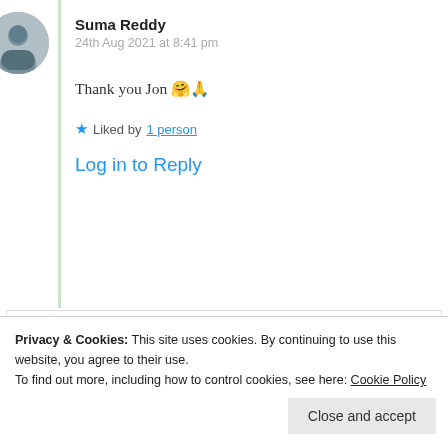[Figure (photo): Circular avatar photo of Suma Reddy, a woman with dark hair]
Suma Reddy
24th Aug 2021 at 8:41 pm
Thank you Jon 🤗🙏
★ Liked by 1 person
Log in to Reply
[Figure (photo): Circular avatar photo of Shruthi Senthilkumar]
Shruthi Senthilkumar
Privacy & Cookies: This site uses cookies. By continuing to use this website, you agree to their use.
To find out more, including how to control cookies, see here: Cookie Policy
Close and accept